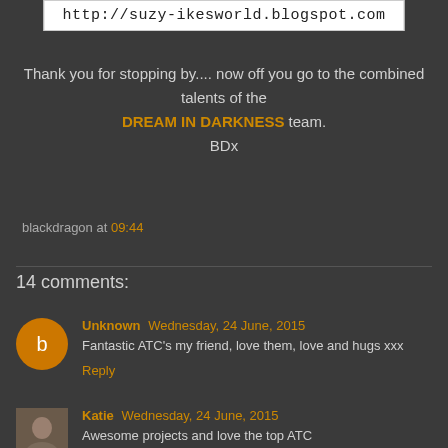[Figure (screenshot): URL bar image showing http://suzy-ikesworld.blogspot.com in handwritten-style font on white background]
Thank you for stopping by.... now off you go to the combined talents of the DREAM IN DARKNESS team.
BDx
blackdragon at 09:44
14 comments:
Unknown Wednesday, 24 June, 2015
Fantastic ATC's my friend, love them, love and hugs xxx
Reply
Katie Wednesday, 24 June, 2015
Awesome projects and love the top ATC